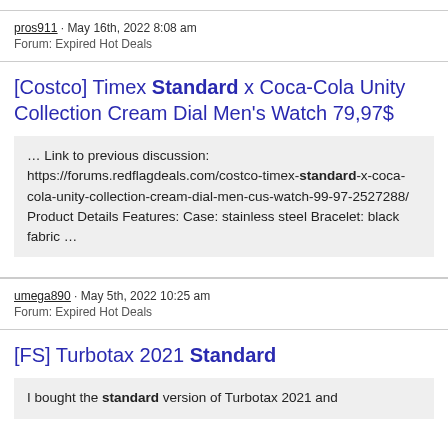pros911 · May 16th, 2022 8:08 am
Forum: Expired Hot Deals
[Costco] Timex Standard x Coca-Cola Unity Collection Cream Dial Men's Watch 79,97$
… Link to previous discussion: https://forums.redflagdeals.com/costco-timex-standard-x-coca-cola-unity-collection-cream-dial-men-cus-watch-99-97-2527288/ Product Details Features: Case: stainless steel Bracelet: black fabric …
umega890 · May 5th, 2022 10:25 am
Forum: Expired Hot Deals
[FS] Turbotax 2021 Standard
I bought the standard version of Turbotax 2021 and